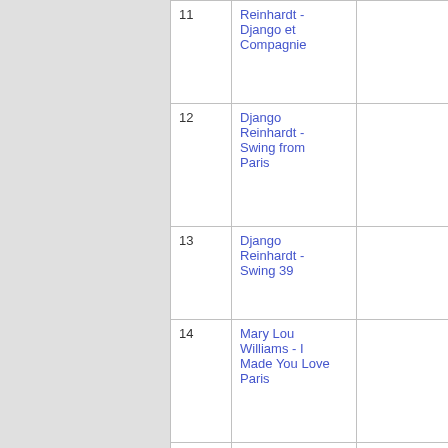| # | Title | Artist | Score |
| --- | --- | --- | --- |
| 11 | Reinhardt - Django et Compagnie |  |  |
| 12 | Django Reinhardt - Swing from Paris |  |  |
| 13 | Django Reinhardt - Swing 39 |  |  |
| 14 | Mary Lou Williams - I Made You Love Paris |  |  |
| 15 | Elek Bacsik - Guitar Conceptions | Elek Bacsik - Guitar Conceptions | 60 |
| 16 | René Thomas - The Real Cat | René Thomas and His Orchestra | 60 |
| 17 | Toots Thielemans - | Toots Thielemans - | 60 |